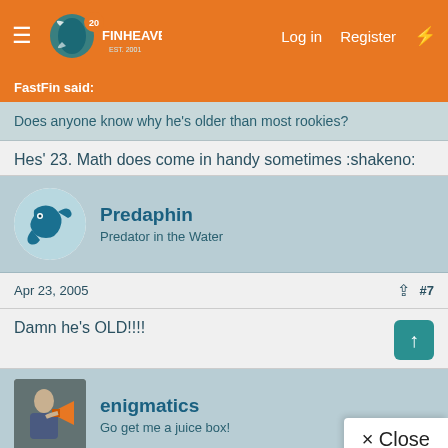FinHeaven — Log in | Register
FastFin said:
Does anyone know why he's older than most rookies?
Hes' 23. Math does come in handy sometimes :shakeno:
Predaphin — Predator in the Water
Apr 23, 2005  #7
Damn he's OLD!!!!
enigmatics — Go get me a juice box!
× Close